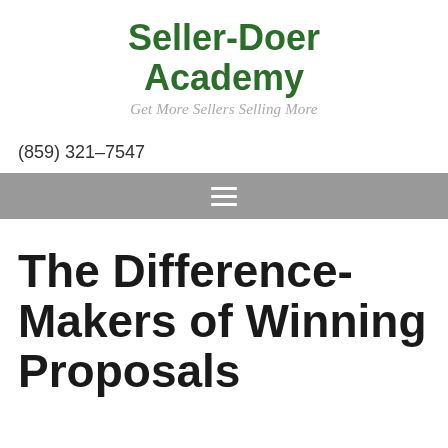Seller-Doer Academy
Get More Sellers Selling More
(859) 321-7547
[Figure (other): Navigation hamburger menu icon (three horizontal white lines on gray background)]
The Difference-Makers of Winning Proposals